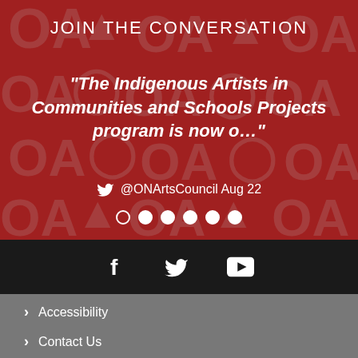JOIN THE CONVERSATION
“The Indigenous Artists in Communities and Schools Projects program is now o…”
@ONArtsCouncil Aug 22
[Figure (infographic): Social media carousel dots navigation: one open circle followed by five filled circles]
[Figure (infographic): Social media icons bar: Facebook (f), Twitter (bird), YouTube (play button) on black background]
Accessibility
Contact Us